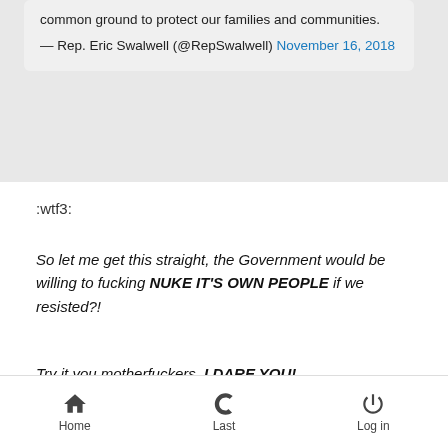common ground to protect our families and communities.
— Rep. Eric Swalwell (@RepSwalwell) November 16, 2018
:wtf3:
So let me get this straight, the Government would be willing to fucking NUKE IT'S OWN PEOPLE if we resisted?!
Try it you motherfuckers, I DARE YOU!
[Figure (screenshot): Meme image with text 'BROUGHT TO YOU BY THE LETTERS' over a sky/landscape background]
Home   Last   Log in